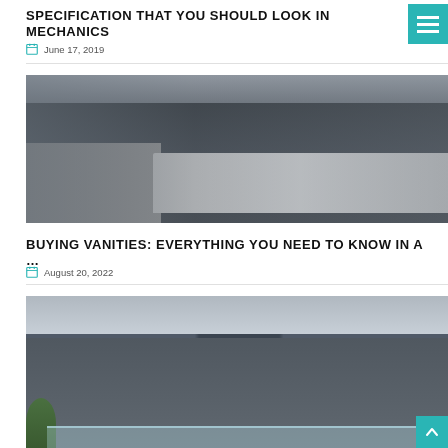SPECIFICATION THAT YOU SHOULD LOOK IN MECHANICS
June 17, 2019
[Figure (photo): Interior of a plumbing/bathroom showroom displaying rows of sinks, vanities, and fixtures on dark display counters with bright ceiling lights and wall-mounted taps in the background.]
BUYING VANITIES: EVERYTHING YOU NEED TO KNOW IN A …
August 20, 2022
[Figure (photo): Exterior of a modern multi-story building with dark grey cladding, large dark-framed windows, glass balcony railing, and a tree visible at lower left, shot against a cloudy sky.]